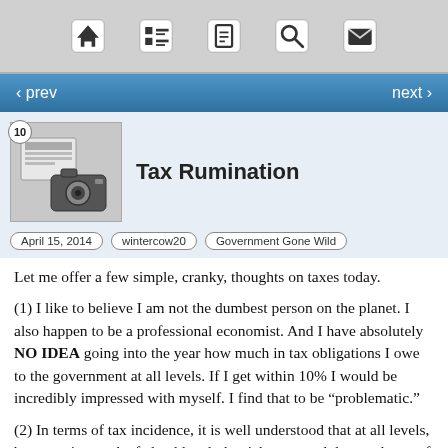[Figure (screenshot): Mobile app top navigation bar with icons: home, list/menu, document, search, mail]
‹ prev   next ›
[Figure (illustration): Thumbnail image showing newspapers/cameras for Tax Rumination article, numbered 10]
Tax Rumination
April 15, 2014   wintercow20   Government Gone Wild
Let me offer a few simple, cranky, thoughts on taxes today.
(1) I like to believe I am not the dumbest person on the planet. I also happen to be a professional economist. And I have absolutely NO IDEA going into the year how much in tax obligations I owe to the government at all levels. If I get within 10% I would be incredibly impressed with myself. I find that to be “problematic.”
(2) In terms of tax incidence, it is well understood that at all levels, but even just at the federal level, the rich pay much larger shares of their incomes as taxes than the non-rich, despite the rhetoric. The table below, from the CBO, shows it for the federal level. But what I’d like to see, but cannot find from a cursory search, is a distribution of tax payments by household. For